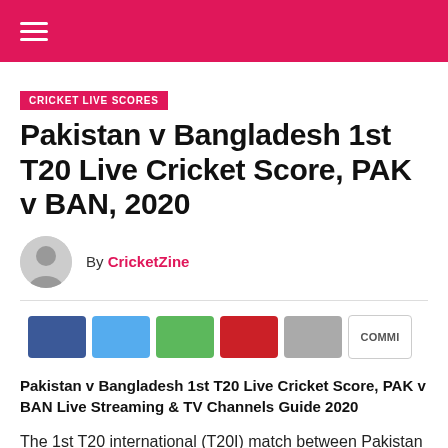CRICKET LIVE SCORES
Pakistan v Bangladesh 1st T20 Live Cricket Score, PAK v BAN, 2020
By CricketZine
[Figure (other): Social share buttons: Facebook, Twitter, WhatsApp, Pinterest, Email, Comments]
Pakistan v Bangladesh 1st T20 Live Cricket Score, PAK v BAN Live Streaming & TV Channels Guide 2020
The 1st T20 international (T20I) match between Pakistan v Bangladesh on January 24, 2020 at Gaddafi Stadium,